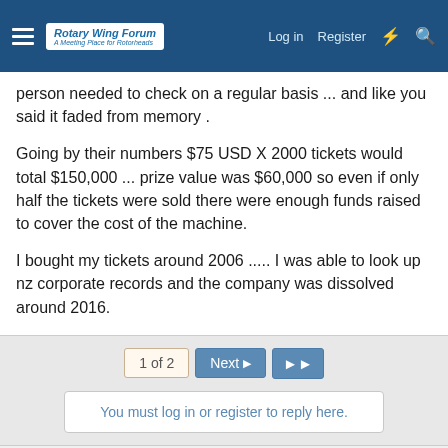Rotary Wing Forum - A Meeting Place for Rotorheads | Log in | Register
person needed to check on a regular basis ... and like you said it faded from memory .
Going by their numbers $75 USD X 2000 tickets would total $150,000 ... prize value was $60,000 so even if only half the tickets were sold there were enough funds raised to cover the cost of the machine.
I bought my tickets around 2006 ..... I was able to look up nz corporate records and the company was dissolved around 2016.
1 of 2 | Next | (last page)
You must log in or register to reply here.
Similar threads
Chuck Beaty
Mayfield · General Discussion